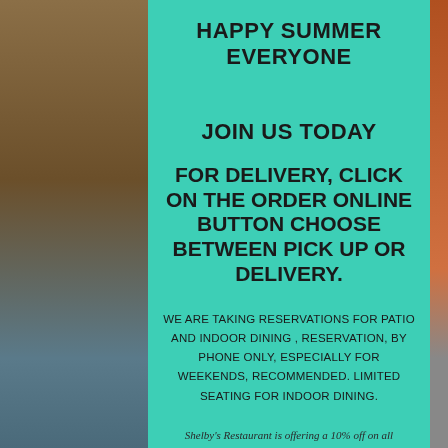HAPPY SUMMER EVERYONE
JOIN US TODAY
FOR DELIVERY, CLICK ON THE ORDER ONLINE BUTTON CHOOSE BETWEEN PICK UP OR DELIVERY.
WE ARE TAKING RESERVATIONS FOR PATIO AND INDOOR DINING , RESERVATION, BY PHONE ONLY, ESPECIALLY FOR WEEKENDS, RECOMMENDED. LIMITED SEATING FOR INDOOR DINING.
Shelby's Restaurant is offering a 10% off on all orders.